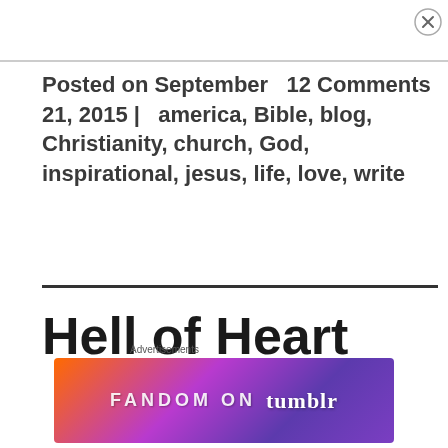Posted on September 21, 2015 | 12 Comments america, Bible, blog, Christianity, church, God, inspirational, jesus, life, love, write
Hell of Heart
[Figure (other): Advertisement banner for Fandom on Tumblr with colorful gradient background]